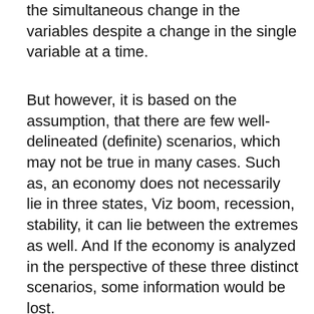the simultaneous change in the variables despite a change in the single variable at a time.
But however, it is based on the assumption, that there are few well-delineated (definite) scenarios, which may not be true in many cases. Such as, an economy does not necessarily lie in three states, Viz boom, recession, stability, it can lie between the extremes as well. And If the economy is analyzed in the perspective of these three distinct scenarios, some information would be lost.